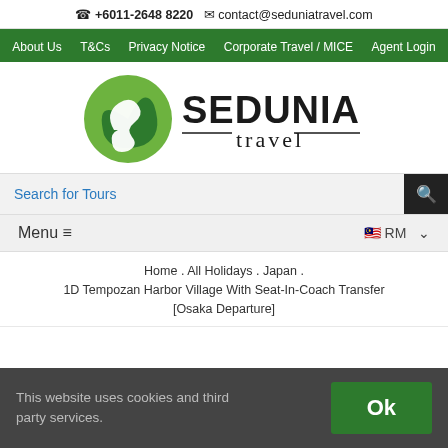☎ +6011-2648 8220  ✉ contact@seduniatravel.com
About Us  T&Cs  Privacy Notice  Corporate Travel / MICE  Agent Login
[Figure (logo): Sedunia Travel logo: green circular bird/leaf icon with SEDUNIA in bold black and 'travel' in lighter serif font below]
Search for Tours
Menu ≡   🇲🇾 RM  ∨
Home . All Holidays . Japan . 1D Tempozan Harbor Village With Seat-In-Coach Transfer [Osaka Departure]
This website uses cookies and third party services.
Ok